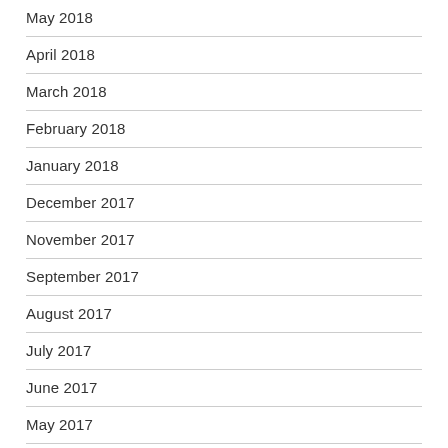May 2018
April 2018
March 2018
February 2018
January 2018
December 2017
November 2017
September 2017
August 2017
July 2017
June 2017
May 2017
March 2017